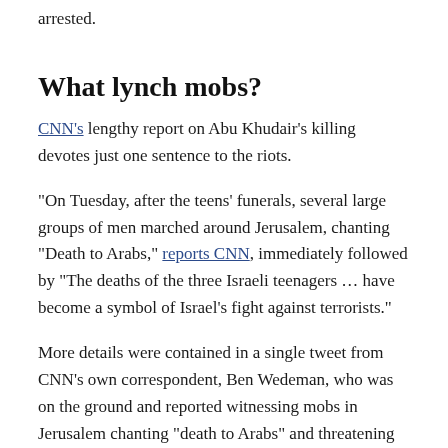arrested.
What lynch mobs?
CNN's lengthy report on Abu Khudair's killing devotes just one sentence to the riots.
“On Tuesday, after the teens’ funerals, several large groups of men marched around Jerusalem, chanting “Death to Arabs,” reports CNN, immediately followed by “The deaths of the three Israeli teenagers … have become a symbol of Israel’s fight against terrorists.”
More details were contained in a single tweet from CNN’s own correspondent, Ben Wedeman, who was on the ground and reported witnessing mobs in Jerusalem chanting “death to Arabs” and threatening to attack Palestinians after sundown.